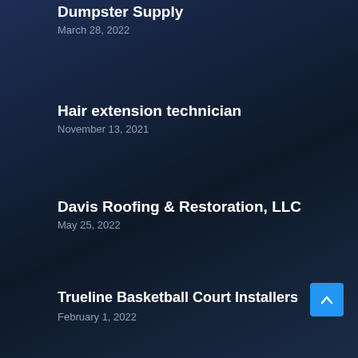Dumpster Supply
March 28, 2022
Hair extension technician
November 13, 2021
Davis Roofing & Restoration, LLC
May 25, 2022
Trueline Basketball Court Installers
February 1, 2022
Deck Builder Pros
December 26, 2021
Masonry contractor